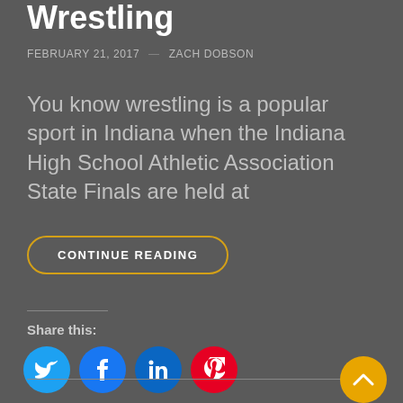Wrestling
FEBRUARY 21, 2017  ZACH DOBSON
You know wrestling is a popular sport in Indiana when the Indiana High School Athletic Association State Finals are held at
CONTINUE READING
Share this:
[Figure (illustration): Social media share icons: Twitter (blue), Facebook (blue), LinkedIn (blue), Pinterest (red)]
[Figure (illustration): Yellow circular scroll-to-top button with upward chevron arrow]